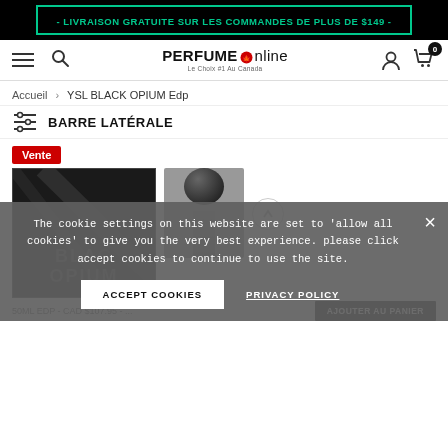- LIVRAISON GRATUITE SUR LES COMMANDES DE PLUS DE $149 -
[Figure (screenshot): Perfume Online website navigation bar with hamburger menu, search icon, logo, user icon, and cart with badge showing 0]
Accueil > YSL BLACK OPIUM Edp
BARRE LATÉRALE
[Figure (photo): Product image of YSL Black Opium perfume bottle with dark background showing BLACK OPIUM text, and a second image showing a round black bottle cap]
Vente
The cookie settings on this website are set to 'allow all cookies' to give you the very best experience. please click accept cookies to continue to use the site.
ACCEPT COOKIES
PRIVACY POLICY
50ML EDP - CAD $107.95 - ...
AJOUTER AU PANIER